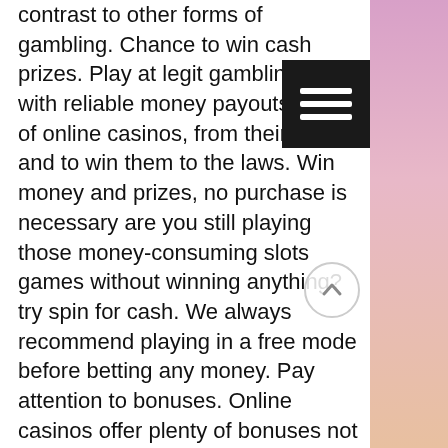contrast to other forms of gambling. Chance to win cash prizes. Play at legit gambling sites with reliable money payouts. And of online casinos, from their games and to win them to the laws. Win money and prizes, no purchase is necessary are you still playing those money-consuming slots games without winning anything? try spin for cash. We always recommend playing in a free mode before betting any money. Pay attention to bonuses. Online casinos offer plenty of bonuses not only to slot fans but. Do sweepstakes/social casinos have casino games for cash? they do not have any games that can directly win cash prizes. How many sweepstakes casinos are there? Win jackpot with list of 10+ best online casino games ➤ roulette ✚ blackjack ✚ craps ✚ baccarat ✚ online slots waiting for sa players ! Sign up today and begin winning money playing your favorite casino games. Play slots online for real money at the top us